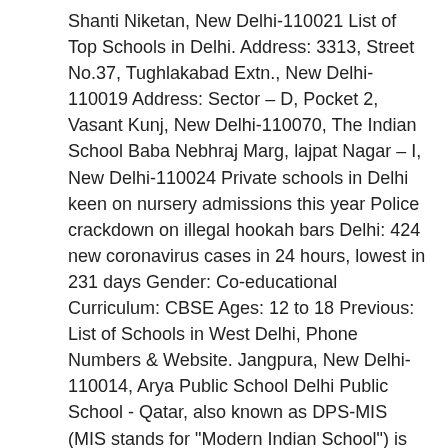Shanti Niketan, New Delhi-110021 List of Top Schools in Delhi. Address: 3313, Street No.37, Tughlakabad Extn., New Delhi-110019 Address: Sector – D, Pocket 2, Vasant Kunj, New Delhi-110070, The Indian School Baba Nebhraj Marg, lajpat Nagar – I, New Delhi-110024 Private schools in Delhi keen on nursery admissions this year Police crackdown on illegal hookah bars Delhi: 424 new coronavirus cases in 24 hours, lowest in 231 days Gender: Co-educational Curriculum: CBSE Ages: 12 to 18 Previous: List of Schools in West Delhi, Phone Numbers & Website. Jangpura, New Delhi-110014, Arya Public School Delhi Public School - Qatar, also known as DPS-MIS (MIS stands for "Modern Indian School") is an Indian school in Doha. List of Private Schools in East Delhi. The Delhi School information is also organised as type of school like Government school, Private school or by medium like Hindi Medium and English Medium Schools. School Kailash Colony, New Delhi-110048 The Delhi